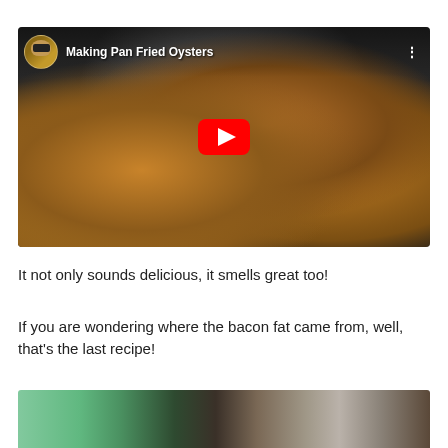[Figure (screenshot): YouTube video thumbnail showing pan fried oysters sizzling in a cast iron skillet with bacon fat. Video title reads 'Making Pan Fried Oysters' with a channel avatar (man with sunglasses) on the left and a red YouTube play button in the center.]
It not only sounds delicious, it smells great too!
If you are wondering where the bacon fat came from, well, that's the last recipe!
[Figure (photo): Bottom portion of an image partially visible, showing what appears to be an indoor scene with green foliage visible on the left and bookshelves on the right.]